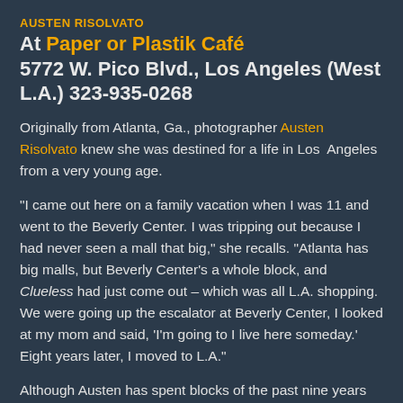AUSTEN RISOLVATO
At Paper or Plastik Café
5772 W. Pico Blvd., Los Angeles (West L.A.) 323-935-0268
Originally from Atlanta, Ga., photographer Austen Risolvato knew she was destined for a life in Los Angeles from a very young age.
"I came out here on a family vacation when I was 11 and went to the Beverly Center. I was tripping out because I had never seen a mall that big," she recalls. "Atlanta has big malls, but Beverly Center's a whole block, and Clueless had just come out – which was all L.A. shopping. We were going up the escalator at Beverly Center, I looked at my mom and said, 'I'm going to I live here someday.' Eight years later, I moved to L.A."
Although Austen has spent blocks of the past nine years traveling around the world as the official tour photographer